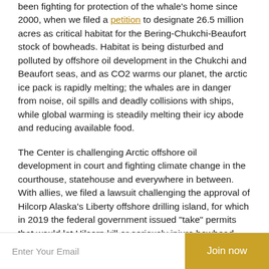been fighting for protection of the whale's home since 2000, when we filed a petition to designate 26.5 million acres as critical habitat for the Bering-Chukchi-Beaufort stock of bowheads. Habitat is being disturbed and polluted by offshore oil development in the Chukchi and Beaufort seas, and as CO2 warms our planet, the arctic ice pack is rapidly melting; the whales are in danger from noise, oil spills and deadly collisions with ships, while global warming is steadily melting their icy abode and reducing available food.
The Center is challenging Arctic offshore oil development in court and fighting climate change in the courthouse, statehouse and everywhere in between. With allies, we filed a lawsuit challenging the approval of Hilcorp Alaska's Liberty offshore drilling island, for which in 2019 the federal government issued "take" permits that would let Hilcorp kill or seriously injure bowhead whales, several other
Enter Your Email
Join now